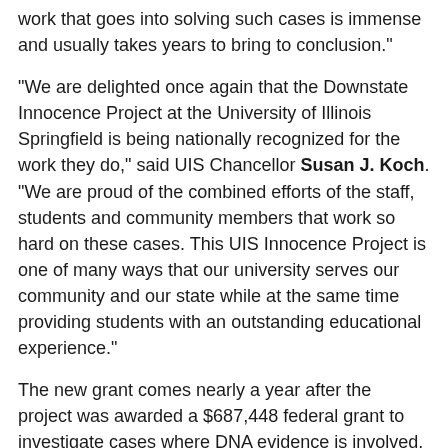work that goes into solving such cases is immense and usually takes years to bring to conclusion."
"We are delighted once again that the Downstate Innocence Project at the University of Illinois Springfield is being nationally recognized for the work they do," said UIS Chancellor Susan J. Koch. "We are proud of the combined efforts of the staff, students and community members that work so hard on these cases. This UIS Innocence Project is one of many ways that our university serves our community and our state while at the same time providing students with an outstanding educational experience."
The new grant comes nearly a year after the project was awarded a $687,448 federal grant to investigate cases where DNA evidence is involved. Project leaders say the two grants combined validate the work they are doing.
“This grant epitomizes the good that can be done by linking academic and student opportunities with real world problem solving,” said David Racine, interim executive director of the UIS Center for State Policy and Leadership. “The grant will